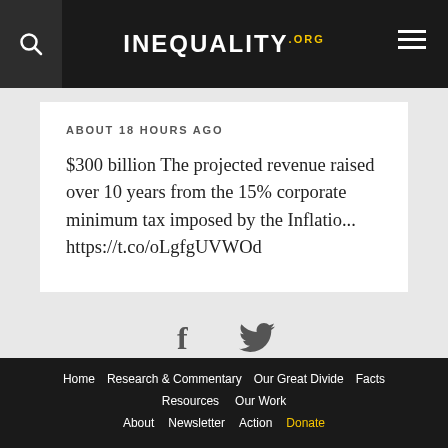INEQUALITY.ORG
ABOUT 18 HOURS AGO
$300 billion The projected revenue raised over 10 years from the 15% corporate minimum tax imposed by the Inflatio... https://t.co/oLgfgUVWOd
[Figure (illustration): Social media sharing icons: Facebook (f) and Twitter (bird) in dark gray]
Home   Research & Commentary   Our Great Divide   Facts   Resources   Our Work   About   Newsletter   Action   Donate